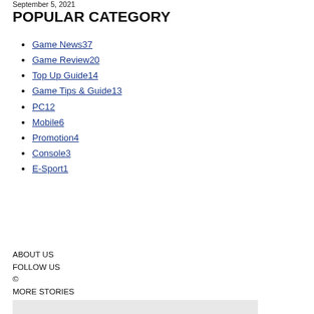September 5, 2021
POPULAR CATEGORY
Game News37
Game Review20
Top Up Guide14
Game Tips & Guide13
PC12
Mobile6
Promotion4
Console3
E-Sport1
ABOUT US
FOLLOW US
©
MORE STORIES